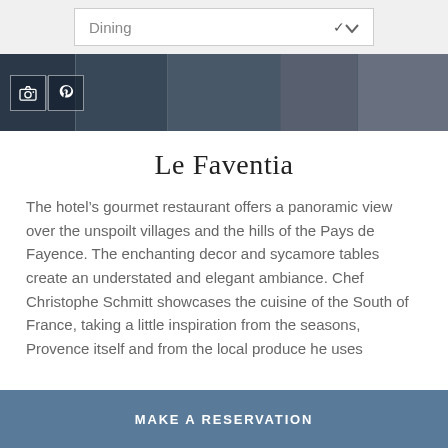[Figure (screenshot): Dropdown menu bar with 'Dining' label and chevron arrow]
[Figure (photo): Horizontal photo strip showing restaurant dining scenes with social media icons (camera and Pinterest) overlaid on the left]
Le Faventia
The hotel's gourmet restaurant offers a panoramic view over the unspoilt villages and the hills of the Pays de Fayence. The enchanting decor and sycamore tables create an understated and elegant ambiance. Chef Christophe Schmitt showcases the cuisine of the South of France, taking a little inspiration from the seasons, Provence itself and from the local produce he uses
MAKE A RESERVATION